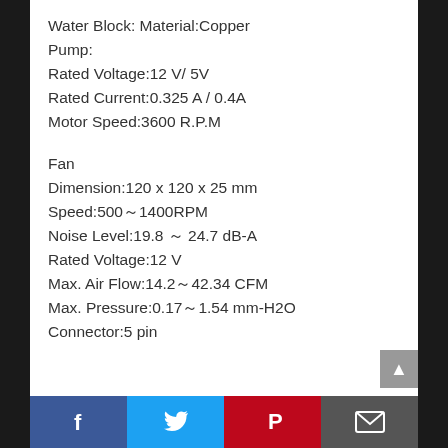Water Block: Material:Copper
Pump:
Rated Voltage:12 V/ 5V
Rated Current:0.325 A / 0.4A
Motor Speed:3600 R.P.M
Fan
Dimension:120 x 120 x 25 mm
Speed:500～1400RPM
Noise Level:19.8 ～ 24.7 dB-A
Rated Voltage:12 V
Max. Air Flow:14.2～42.34 CFM
Max. Pressure:0.17～1.54 mm-H2O
Connector:5 pin
Facebook  Twitter  Pinterest  Email